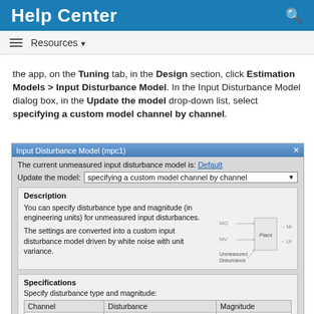Help Center
Resources
the app, on the Tuning tab, in the Design section, click Estimation Models > Input Disturbance Model. In the Input Disturbance Model dialog box, in the Update the model drop-down list, select specifying a custom model channel by channel.
[Figure (screenshot): Input Disturbance Model (mpc1) dialog box screenshot showing: current unmeasured input disturbance model is Default, Update the model dropdown set to 'specifying a custom model channel by channel', Description section with text about disturbance type/magnitude and a block diagram showing Unmeasured Disturbance, MO, MV, Plant, MD, UO, Specifications section with channel u(2), Disturbance: Random Step-like, Magnitude: 1]